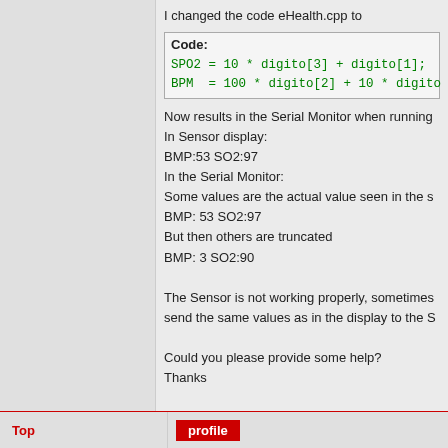I changed the code eHealth.cpp to
Code:
SPO2 = 10 * digito[3] + digito[1];
BPM  = 100 * digito[2] + 10 * digito
Now results in the Serial Monitor when running
In Sensor display:
BMP:53 SO2:97
In the Serial Monitor:
Some values are the actual value seen in the s
BMP: 53 SO2:97
But then others are truncated
BMP: 3 SO2:90

The Sensor is not working properly, sometimes send the same values as in the display to the S

Could you please provide some help?
Thanks
Top
profile